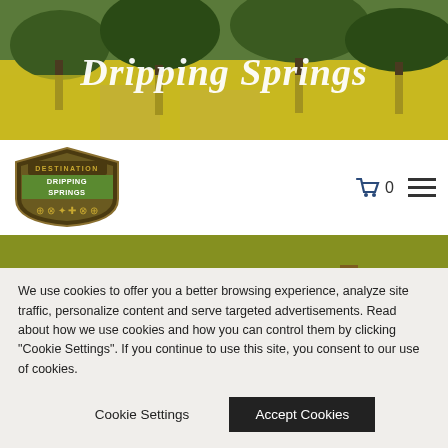[Figure (photo): Aerial/landscape photo of Dripping Springs with yellow wildflower fields and trees. White script text 'Dripping Springs' overlaid on the image.]
[Figure (logo): Destination Dripping Springs logo — a shield/badge shape with 'DESTINATION' at top, 'DRIPPING SPRINGS' in the center band, and activity icons below including bicycle, bike, star/Texas, plus, and boot symbols.]
[Figure (photo): Mountain bike (neon green/yellow) parked on a dirt trail surrounded by yellow wildflower fields with dead tree stumps.]
We use cookies to offer you a better browsing experience, analyze site traffic, personalize content and serve targeted advertisements. Read about how we use cookies and how you can control them by clicking "Cookie Settings". If you continue to use this site, you consent to our use of cookies.
Cookie Settings
Accept Cookies